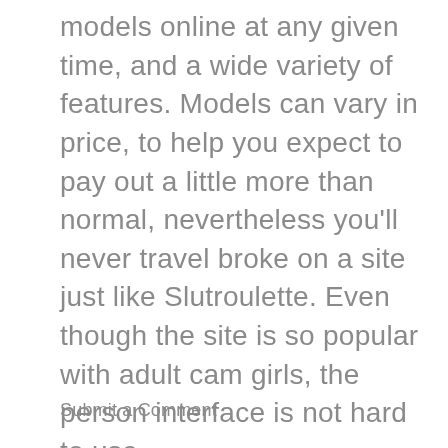models online at any given time, and a wide variety of features. Models can vary in price, to help you expect to pay out a little more than normal, nevertheless you'll never travel broke on a site just like Slutroulette. Even though the site is so popular with adult cam girls, the person interface is not hard to use.
Submit a Comment